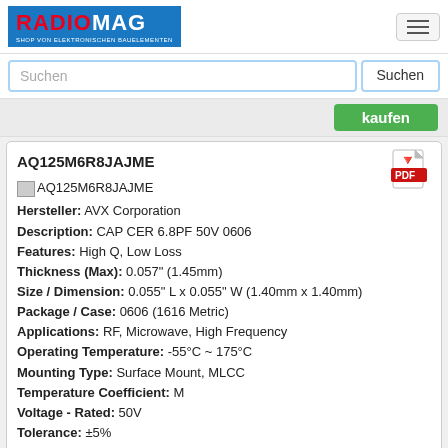RADIOMAG - SHOP VON ELEKTRONISCHEN BAUELEMENTEN
Suchen
AQ125M6R8JAJME
Hersteller: AVX Corporation
Description: CAP CER 6.8PF 50V 0606
Features: High Q, Low Loss
Thickness (Max): 0.057" (1.45mm)
Size / Dimension: 0.055" L x 0.055" W (1.40mm x 1.40mm)
Package / Case: 0606 (1616 Metric)
Applications: RF, Microwave, High Frequency
Operating Temperature: -55°C ~ 175°C
Mounting Type: Surface Mount, MLCC
Temperature Coefficient: M
Voltage - Rated: 50V
Tolerance: ±5%
Capacitance: 6.8pF
auf Bestellung 10 Stücke
Lieferzeit 21-28 Tag (e)